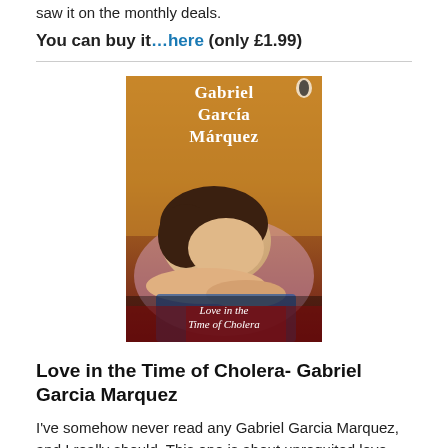saw it on the monthly deals.
You can buy it…here (only £1.99)
[Figure (photo): Book cover of 'Love in the Time of Cholera' by Gabriel García Márquez. A young woman rests her head on her arms against a golden/warm background. The author's name is displayed at the top in white serif text, and the title 'Love in the Time of Cholera' is at the bottom.]
Love in the Time of Cholera- Gabriel Garcia Marquez
I've somehow never read any Gabriel Garcia Marquez, and I really should. This one is about unrequited love
You can buy it…here (only £1.99)